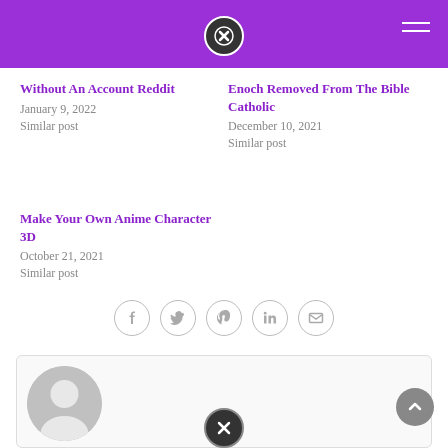Without An Account Reddit
January 9, 2022
Similar post
Enoch Removed From The Bible Catholic
December 10, 2021
Similar post
Make Your Own Anime Character 3D
October 21, 2021
Similar post
[Figure (infographic): Row of 5 social sharing icons: Facebook, Twitter, Pinterest, LinkedIn, Email]
[Figure (illustration): Author avatar placeholder (grey circle with person silhouette)]
[Figure (other): Back to top button (grey circle with up arrow)]